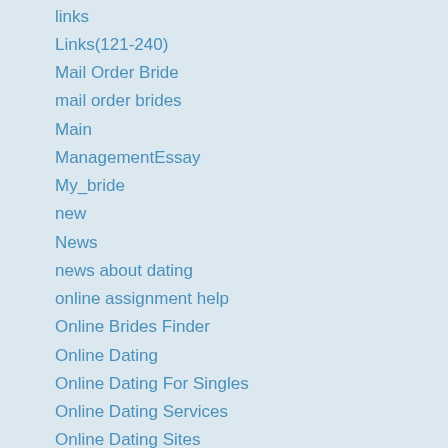links
Links(121-240)
Mail Order Bride
mail order brides
Main
ManagementEssay
My_bride
new
News
news about dating
online assignment help
Online Brides Finder
Online Dating
Online Dating For Singles
Online Dating Services
Online Dating Sites
online lab report writing service
OnlineBuy